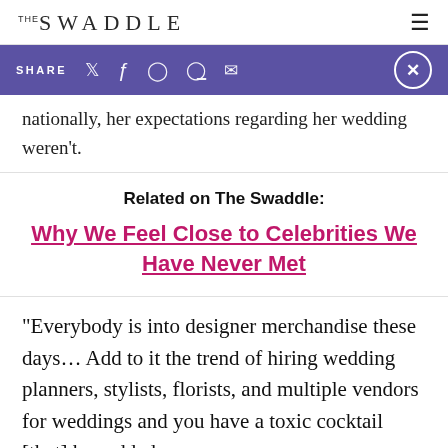THE SWADDLE
SHARE (social icons) ×
nationally, her expectations regarding her wedding weren’t.
Related on The Swaddle:
Why We Feel Close to Celebrities We Have Never Met
“Everybody is into designer merchandise these days… Add to it the trend of hiring wedding planners, stylists, florists, and multiple vendors for weddings and you have a toxic cocktail [that] has added so many